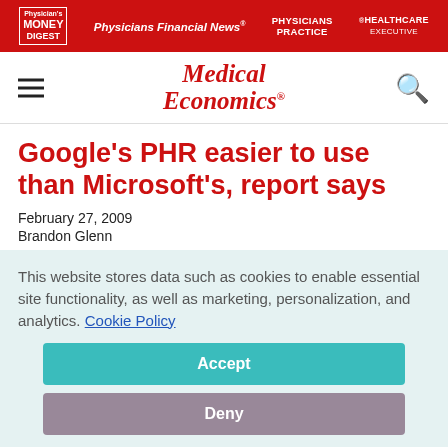Physician's Money Digest | Physicians Financial News | Physicians Practice | Healthcare Executive
[Figure (logo): Medical Economics site logo with hamburger menu and search icon]
Google's PHR easier to use than Microsoft's, report says
February 27, 2009
Brandon Glenn
This website stores data such as cookies to enable essential site functionality, as well as marketing, personalization, and analytics. Cookie Policy
Accept
Deny